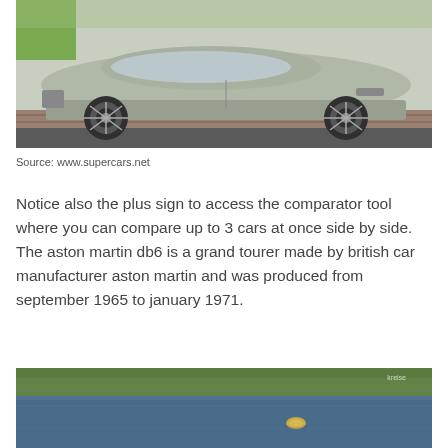[Figure (photo): Side profile photo of a silver/grey Aston Martin DB6 classic car parked on a road with green grass and a brick wall in the background.]
Source: www.supercars.net
Notice also the plus sign to access the comparator tool where you can compare up to 3 cars at once side by side. The aston martin db6 is a grand tourer made by british car manufacturer aston martin and was produced from september 1965 to january 1971.
[Figure (photo): Photo showing a body of water (lake or river) with blurred green trees/foliage in the background and a small round object visible on the water surface.]